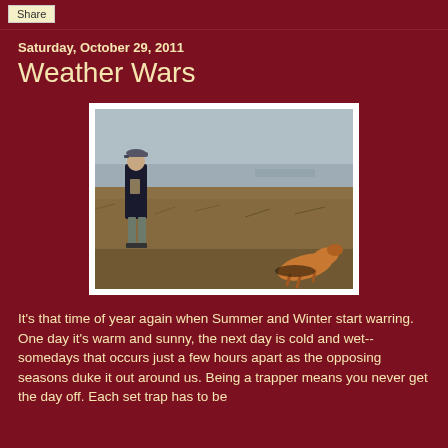Share
Saturday, October 29, 2011
Weather Wars
[Figure (photo): A man in a dark jacket and cap standing in an open flat field with dry brown grass. In the lower right of the image, a coyote or fox appears to be caught in a trap. The sky is overcast and grey.]
It's that time of year again when Summer and Winter start warring. One day it's warm and sunny, the next day is cold and wet--somedays that occurs just a few hours apart as the opposing seasons duke it out around us. Being a trapper means you never get the day off. Each set trap has to be